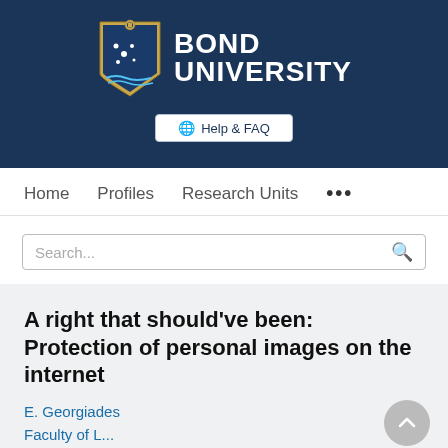[Figure (logo): Bond University logo with crest and name on dark blue banner, with Help & FAQ button]
Home   Profiles   Research Units   ...
Search...
A right that should've been: Protection of personal images on the internet
E. Georgiades
Faculty of L...